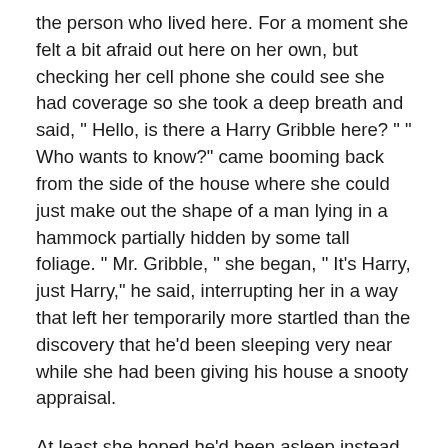the person who lived here. For a moment she felt a bit afraid out here on her own, but checking her cell phone she could see she had coverage so she took a deep breath and said, " Hello, is there a Harry Gribble here? " " Who wants to know?" came booming back from the side of the house where she could just make out the shape of a man lying in a hammock partially hidden by some tall foliage. " Mr. Gribble, "  she began, " It's Harry, just Harry," he said, interrupting her in a way that left her temporarily more startled than the discovery that he'd been sleeping very near while she had been giving his house a snooty appraisal.
At least she hoped he'd been asleep instead of watching her during her big bug killing moment. Her face reddened thinking how absurd she must have looked as she drenched herself with enough spray to kill anything that